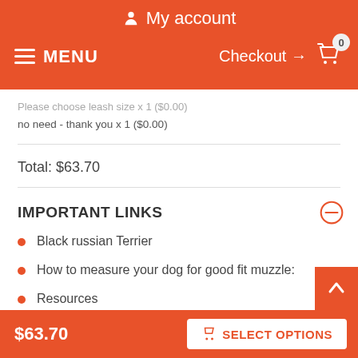My account | MENU | Checkout → 0
Please choose leash size x 1 ($0.00)
no need - thank you x 1 ($0.00)
Total: $63.70
IMPORTANT LINKS
Black russian Terrier
How to measure your dog for good fit muzzle:
Resources
Short history of the breed...
$63.70  SELECT OPTIONS